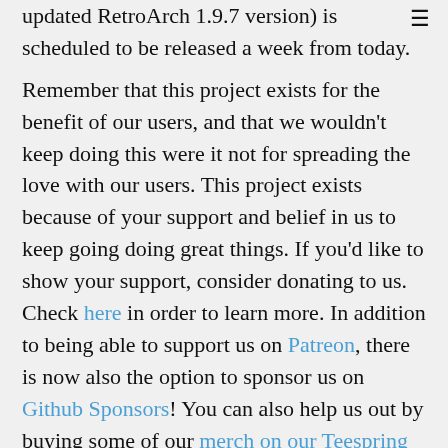updated RetroArch 1.9.7 version) is scheduled to be released a week from today.
Remember that this project exists for the benefit of our users, and that we wouldn't keep doing this were it not for spreading the love with our users. This project exists because of your support and belief in us to keep going doing great things. If you'd like to show your support, consider donating to us. Check here in order to learn more. In addition to being able to support us on Patreon, there is now also the option to sponsor us on Github Sponsors! You can also help us out by buying some of our merch on our Teespring store!
NOTE: We will update this notice as soon as we have uploaded the 1.9.7 version for UWP/Xbox as well to our server. For now, these still point to the previous version (1.9.6). We thank you for your understanding.